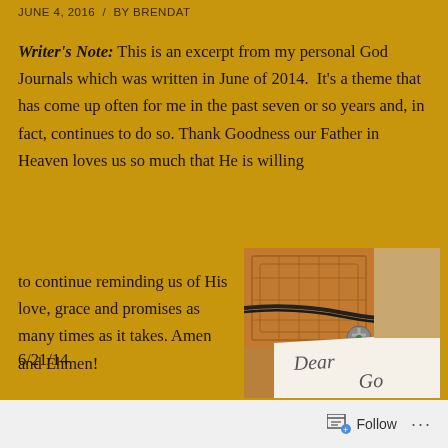JUNE 4, 2016 / BY BRENDAT
Writer's Note: This is an excerpt from my personal God Journals which was written in June of 2014. It's a theme that has come up often for me in the past seven or so years and, in fact, continues to do so. Thank Goodness our Father in Heaven loves us so much that He is willing to continue reminding us of His love, grace and promises as many times as it takes. Amen and Ehmen!
[Figure (photo): A photo of a leather-bound journal with decorative Celtic knotwork pattern tied with a dark cord, beside a handwritten note starting with 'Dear God']
6/21/14
Follow ...